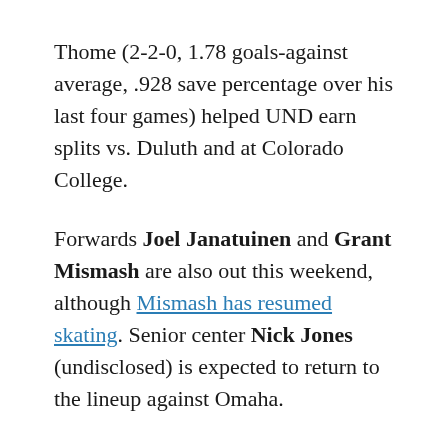Thome (2-2-0, 1.78 goals-against average, .928 save percentage over his last four games) helped UND earn splits vs. Duluth and at Colorado College.
Forwards Joel Janatuinen and Grant Mismash are also out this weekend, although Mismash has resumed skating. Senior center Nick Jones (undisclosed) is expected to return to the lineup against Omaha.
One bright spot for Omaha has been their power play efficiency; the Mavericks clock in at just under 24 percent (8th-best in the country). To this point of the season, 33 of